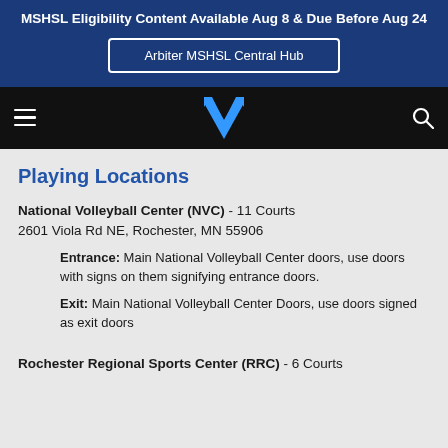MSHSL Eligibility Content Available Aug 8 & Due Before Aug 24
Arbiter MSHSL Central Hub
[Figure (logo): Black navigation bar with hamburger menu, blue M/V logo, and search icon]
Playing Locations
National Volleyball Center (NVC) - 11 Courts
2601 Viola Rd NE, Rochester, MN 55906
Entrance: Main National Volleyball Center doors, use doors with signs on them signifying entrance doors.
Exit: Main National Volleyball Center Doors, use doors signed as exit doors
Rochester Regional Sports Center (RRC) - 6 Courts